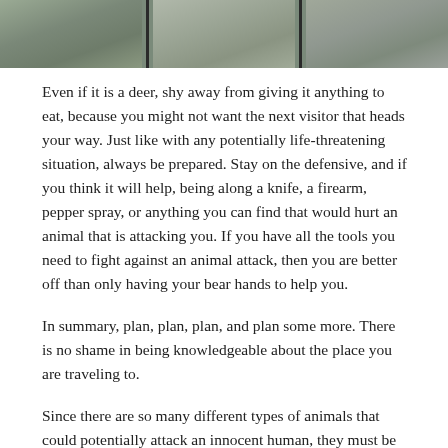[Figure (photo): Three side-by-side outdoor/desert landscape photos separated by dark vertical dividers]
Even if it is a deer, shy away from giving it anything to eat, because you might not want the next visitor that heads your way. Just like with any potentially life-threatening situation, always be prepared. Stay on the defensive, and if you think it will help, being along a knife, a firearm, pepper spray, or anything you can find that would hurt an animal that is attacking you. If you have all the tools you need to fight against an animal attack, then you are better off than only having your bear hands to help you.
In summary, plan, plan, plan, and plan some more. There is no shame in being knowledgeable about the place you are traveling to.
Since there are so many different types of animals that could potentially attack an innocent human, they must be narrowed down to which animals are most commonly found that might attack. First on our list of animals is the ever-popular bear.
Bears
When an animal attacks, it is vital to understand the behavior and